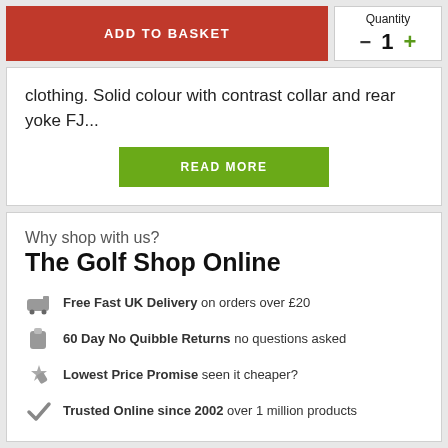ADD TO BASKET
Quantity
- 1 +
clothing. Solid colour with contrast collar and rear yoke FJ...
READ MORE
Why shop with us?
The Golf Shop Online
Free Fast UK Delivery on orders over £20
60 Day No Quibble Returns no questions asked
Lowest Price Promise seen it cheaper?
Trusted Online since 2002 over 1 million products